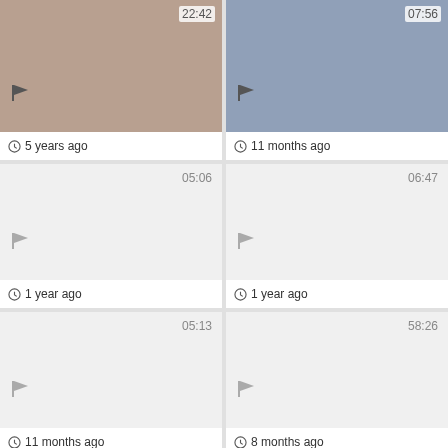[Figure (screenshot): Video thumbnail showing a person, duration 22:42, 5 years ago]
[Figure (screenshot): Video thumbnail showing two people, duration 07:56, 11 months ago]
[Figure (screenshot): Blank video thumbnail, duration 05:06, 1 year ago]
[Figure (screenshot): Blank video thumbnail, duration 06:47, 1 year ago]
[Figure (screenshot): Blank video thumbnail, duration 05:13, 11 months ago]
[Figure (screenshot): Blank video thumbnail, duration 58:26, 8 months ago]